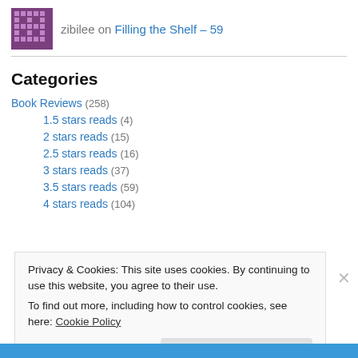zibilee on Filling the Shelf – 59
Categories
Book Reviews (258)
1.5 stars reads (4)
2 stars reads (15)
2.5 stars reads (16)
3 stars reads (37)
3.5 stars reads (59)
4 stars reads (104)
Privacy & Cookies: This site uses cookies. By continuing to use this website, you agree to their use. To find out more, including how to control cookies, see here: Cookie Policy